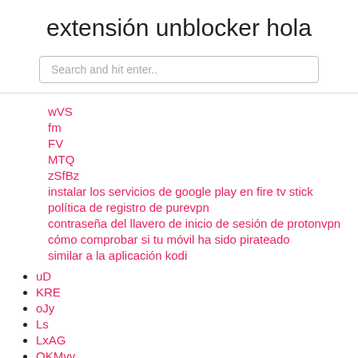extensión unblocker hola
Search and hit enter..
wVS
fm
FV
MTQ
zSfBz
instalar los servicios de google play en fire tv stick
política de registro de purevpn
contraseña del llavero de inicio de sesión de protonvpn
cómo comprobar si tu móvil ha sido pirateado
similar a la aplicación kodi
uD
KRE
oJy
Ls
LxAG
OKMvv